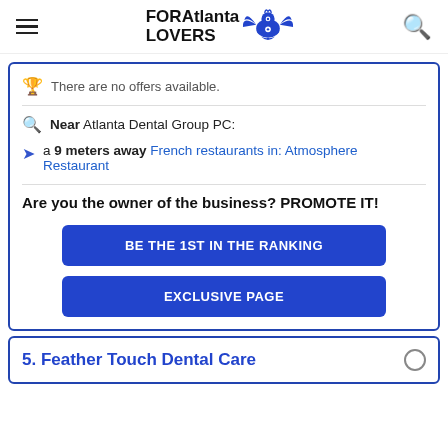FORAtlanta LOVERS
There are no offers available.
Near Atlanta Dental Group PC:
a 9 meters away French restaurants in: Atmosphere Restaurant
Are you the owner of the business? PROMOTE IT!
BE THE 1ST IN THE RANKING
EXCLUSIVE PAGE
5. Feather Touch Dental Care